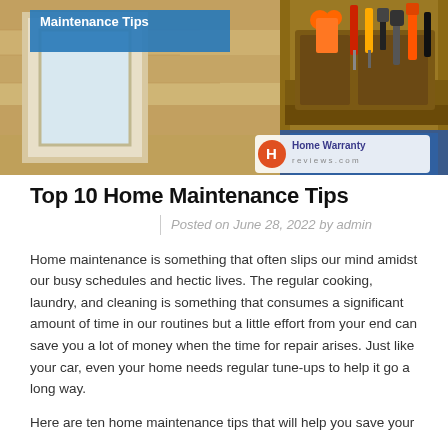[Figure (photo): A hero banner image showing a tool belt filled with construction tools (screwdrivers, scissors, etc.) against a wooden floor background, with 'Maintenance Tips' text overlay in the upper left and a Home Warranty reviews.com logo in the lower right.]
Top 10 Home Maintenance Tips
Posted on June 28, 2022 by admin
Home maintenance is something that often slips our mind amidst our busy schedules and hectic lives. The regular cooking, laundry, and cleaning is something that consumes a significant amount of time in our routines but a little effort from your end can save you a lot of money when the time for repair arises. Just like your car, even your home needs regular tune-ups to help it go a long way.
Here are ten home maintenance tips that will help you save your